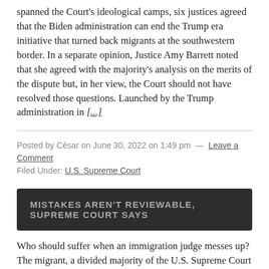spanned the Court's ideological camps, six justices agreed that the Biden administration can end the Trump era initiative that turned back migrants at the southwestern border. In a separate opinion, Justice Amy Barrett noted that she agreed with the majority's analysis on the merits of the dispute but, in her view, the Court should not have resolved those questions. Launched by the Trump administration in [...]
Posted by César on June 30, 2022 on 1:49 pm — Leave a Comment
Filed Under: U.S. Supreme Court
MISTAKES AREN'T REVIEWABLE, SUPREME COURT SAYS
Who should suffer when an immigration judge messes up? The migrant, a divided majority of the U.S. Supreme Court announced this week. In Patel v. Garland, the Court concluded that federal courts can't review factual assessments made by